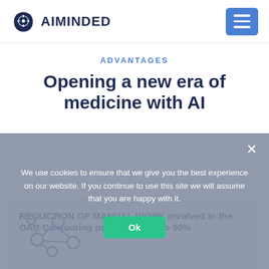[Figure (logo): AIMinded logo with brain/circuit icon and text AIMINDED]
ADVANTAGES
Opening a new era of medicine with AI
REDUCTION OF MANUAL WORK involved in the OAR Contouring process by up to 90%
[Figure (illustration): Network/graph node icon (molecule-like structure) in blue outline style]
We use cookies to ensure that we give you the best experience on our website. If you continue to use this site we will assume that you are happy with it.